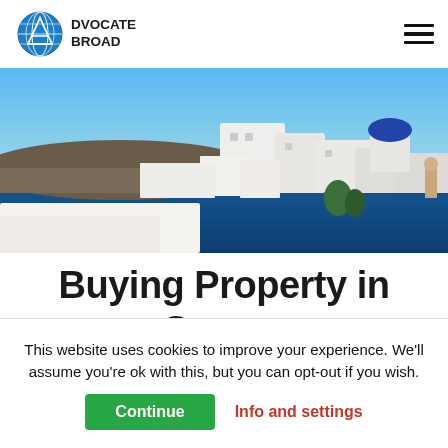Advocate Abroad
[Figure (photo): Santorini, Greece — white-washed buildings with blue domed church overlooking the deep blue Mediterranean sea]
Buying Property in Greece
This website uses cookies to improve your experience. We'll assume you're ok with this, but you can opt-out if you wish.
Continue   Info and settings